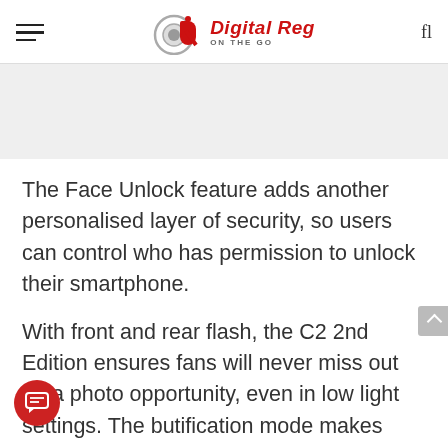Digital Reg ON THE GO
[Figure (other): Gray advertisement/banner placeholder area]
The Face Unlock feature adds another personalised layer of security, so users can control who has permission to unlock their smartphone.
With front and rear flash, the C2 2nd Edition ensures fans will never miss out on a photo opportunity, even in low light settings. The beautification mode makes sure selfies with loved ones are brightened. Capture shots of scenic views